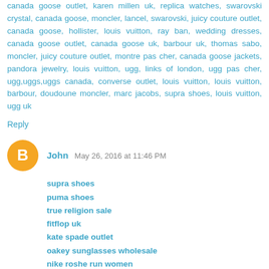canada goose outlet, karen millen uk, replica watches, swarovski crystal, canada goose, moncler, lancel, swarovski, juicy couture outlet, canada goose, hollister, louis vuitton, ray ban, wedding dresses, canada goose outlet, canada goose uk, barbour uk, thomas sabo, moncler, juicy couture outlet, montre pas cher, canada goose jackets, pandora jewelry, louis vuitton, ugg, links of london, ugg pas cher, ugg,uggs,uggs canada, converse outlet, louis vuitton, louis vuitton, barbour, doudoune moncler, marc jacobs, supra shoes, louis vuitton, ugg uk
Reply
John  May 26, 2016 at 11:46 PM
supra shoes
puma shoes
true religion sale
fitflop uk
kate spade outlet
oakey sunglasses wholesale
nike roshe run women
ray ban outlet